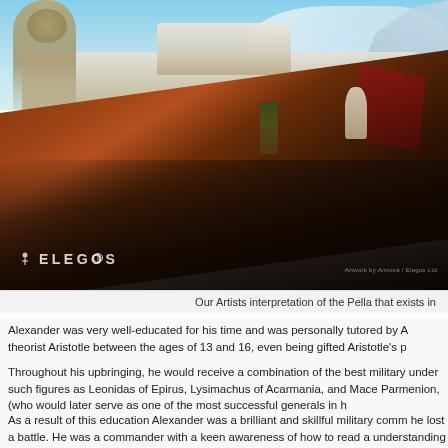[Figure (illustration): Fantasy/historical illustration of an ancient Greek or Macedonian city (Pella) with large colossus statue at left, white buildings and temples on hillside, red banners/capes sweeping across the foreground. ELEGOS logo watermark visible at bottom left.]
Our Artists interpretation of the Pella that exists in
Alexander was very well-educated for his time and was personally tutored by A theorist Aristotle between the ages of 13 and 16, even being gifted Aristotle's p
Throughout his upbringing, he would receive a combination of the best military under such figures as Leonidas of Epirus, Lysimachus of Acarmania, and Mace Parmenion, (who would later serve as one of the most successful generals in h
As a result of this education Alexander was a brilliant and skillful military comm he lost a battle. He was a commander with a keen awareness of how to read a understanding of how to employ one's economy-of-force